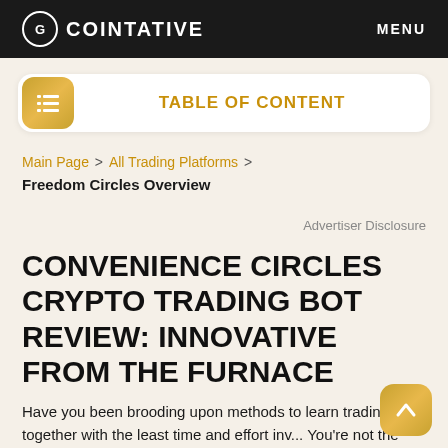COINTATIVE  MENU
TABLE OF CONTENT
Main Page > All Trading Platforms > Freedom Circles Overview
Advertiser Disclosure
CONVENIENCE CIRCLES CRYPTO TRADING BOT REVIEW: INNOVATIVE FROM THE FURNACE
Have you been brooding upon methods to learn trading together with the least time and effort inv... You're not the only one, and people like Kyle Stamford